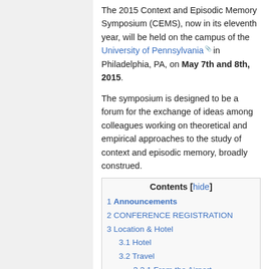The 2015 Context and Episodic Memory Symposium (CEMS), now in its eleventh year, will be held on the campus of the University of Pennsylvania in Philadelphia, PA, on May 7th and 8th, 2015.
The symposium is designed to be a forum for the exchange of ideas among colleagues working on theoretical and empirical approaches to the study of context and episodic memory, broadly construed.
| Contents [hide] |
| 1 Announcements |
| 2 CONFERENCE REGISTRATION |
| 3 Location & Hotel |
| 3.1 Hotel |
| 3.2 Travel |
| 3.2.1 From the Airport |